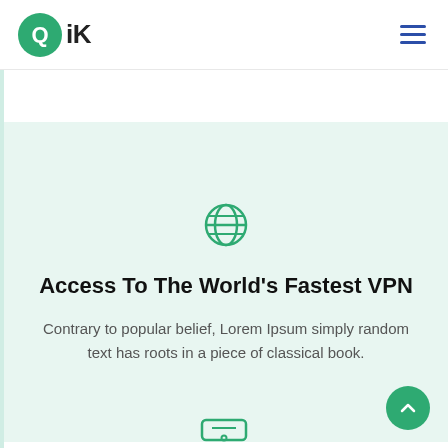QiK
[Figure (illustration): Globe/world icon in green, representing VPN/internet access]
Access To The World's Fastest VPN
Contrary to popular belief, Lorem Ipsum simply random text has roots in a piece of classical book.
[Figure (illustration): Partial router/device icon appearing at bottom of page in green outline style]